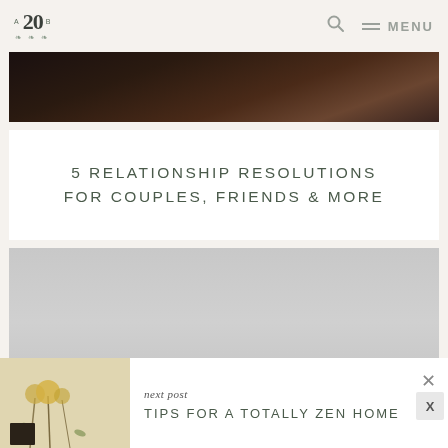A20B — MENU (navigation header with logo, search icon, and menu)
[Figure (photo): Partial dark photo showing a dark interior scene, cropped from the top]
5 RELATIONSHIP RESOLUTIONS FOR COUPLES, FRIENDS & MORE
[Figure (photo): Light grey background photo showing hands (likely holding something), cropped]
next post
TIPS FOR A TOTALLY ZEN HOME